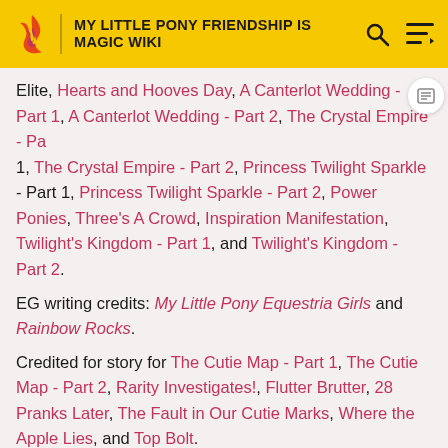MY LITTLE PONY FRIENDSHIP IS MAGIC WIKI
Elite, Hearts and Hooves Day, A Canterlot Wedding - Part 1, A Canterlot Wedding - Part 2, The Crystal Empire - Part 1, The Crystal Empire - Part 2, Princess Twilight Sparkle - Part 1, Princess Twilight Sparkle - Part 2, Power Ponies, Three's A Crowd, Inspiration Manifestation, Twilight's Kingdom - Part 1, and Twilight's Kingdom - Part 2.
EG writing credits: My Little Pony Equestria Girls and Rainbow Rocks.
Credited for story for The Cutie Map - Part 1, The Cutie Map - Part 2, Rarity Investigates!, Flutter Brutter, 28 Pranks Later, The Fault in Our Cutie Marks, Where the Apple Lies, and Top Bolt.
She also wrote My Little Pony The Movie along with Michael Vogel and Rita Hsiao.